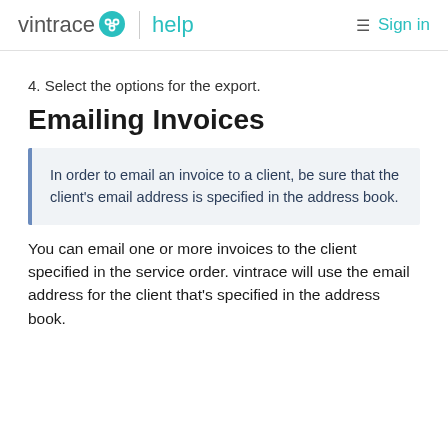vintrace help   Sign in
4. Select the options for the export.
Emailing Invoices
In order to email an invoice to a client, be sure that the client's email address is specified in the address book.
You can email one or more invoices to the client specified in the service order. vintrace will use the email address for the client that's specified in the address book.